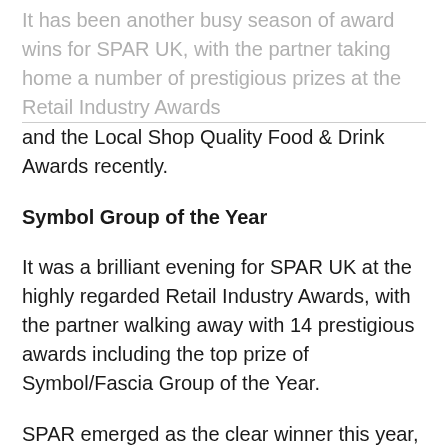It has been another busy season of award wins for SPAR UK, with the partner taking home a number of prestigious prizes at the Retail Industry Awards and the Local Shop Quality Food & Drink Awards recently.
Symbol Group of the Year
It was a brilliant evening for SPAR UK at the highly regarded Retail Industry Awards, with the partner walking away with 14 prestigious awards including the top prize of Symbol/Fascia Group of the Year.
SPAR emerged as the clear winner this year, with what one judge described as a “fantastic performance” throughout the 12-month period. The group was commended for its all-round retailer support, co-investment schemes and training academies.
One judge said: “They are looking ahead and investing for the